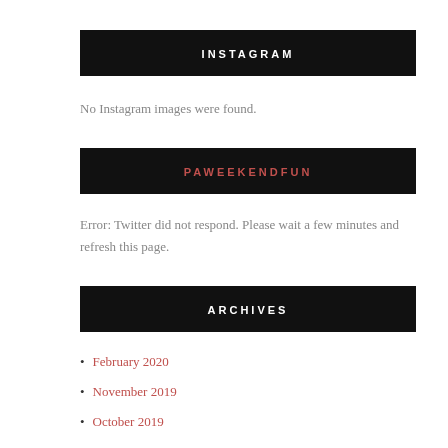INSTAGRAM
No Instagram images were found.
PAWEEKENDFUN
Error: Twitter did not respond. Please wait a few minutes and refresh this page.
ARCHIVES
February 2020
November 2019
October 2019